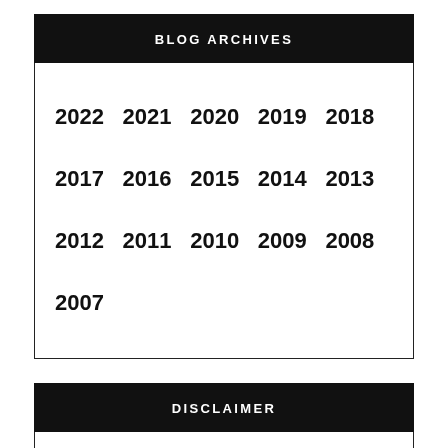BLOG ARCHIVES
2022
2021
2020
2019
2018
2017
2016
2015
2014
2013
2012
2011
2010
2009
2008
2007
DISCLAIMER
The views expressed here represent the individual opinions of the bloggers and do